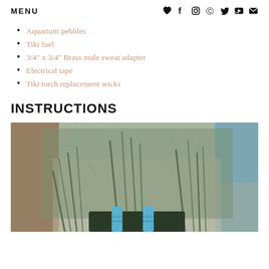MENU
Aquarium pebbles
Tiki fuel
3/4" x 3/4" Brass male sweat adapter
Electrical tape
Tiki torch replacement wicks
INSTRUCTIONS
[Figure (photo): Close-up photo of succulent plants with spiky green-grey foliage in a pot, with blue-wrapped tiki torches or wicks visible at the bottom.]